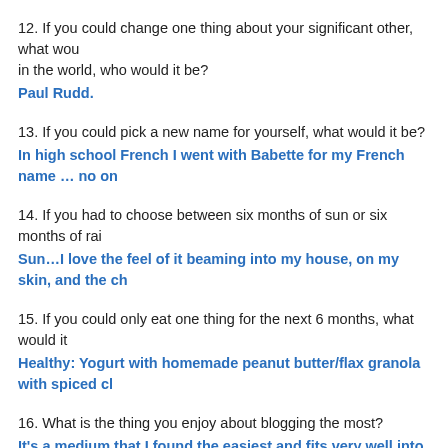12. If you could change one thing about your significant other, what wou in the world, who would it be?
Paul Rudd.
13. If you could pick a new name for yourself, what would it be?
In high school French I went with Babette for my French name … no on
14. If you had to choose between six months of sun or six months of rai
Sun…I love the feel of it beaming into my house, on my skin, and the ch
15. If you could only eat one thing for the next 6 months, what would it
Healthy: Yogurt with homemade peanut butter/flax granola with spiced cl
16. What is the thing you enjoy about blogging the most?
It's a medium that I found the easiest and fits very well into my life for jo would not have had an opportunity to do so.